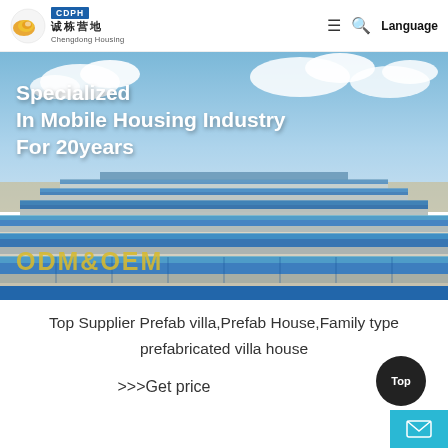[Figure (logo): Chengdong Housing (CDPH) logo with circular golden emblem and blue CDPH badge, Chinese characters 诚栋营地, and English text Chengdong Housing]
≡  🔍  Language
[Figure (photo): Aerial photograph of a large industrial camp or modular housing facility with rows of blue-roofed prefabricated buildings stretching into the distance under a partly cloudy sky]
Specialized In Mobile Housing Industry For 20years
ODM&OEM
Top Supplier Prefab villa,Prefab House,Family type prefabricated villa house
>>>Get price